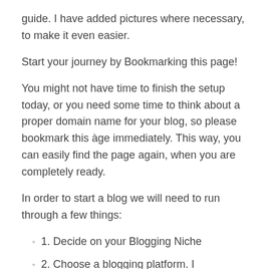guide. I have added pictures where necessary, to make it even easier.
Start your journey by Bookmarking this page!
You might not have time to finish the setup today, or you need some time to think about a proper domain name for your blog, so please bookmark this àge immediately. This way, you can easily find the page again, when you are completely ready.
In order to start a blog we will need to run through a few things:
1. Decide on your Blogging Niche
2. Choose a blogging platform. I recommend WordPress.
3. Pick a Domain Name